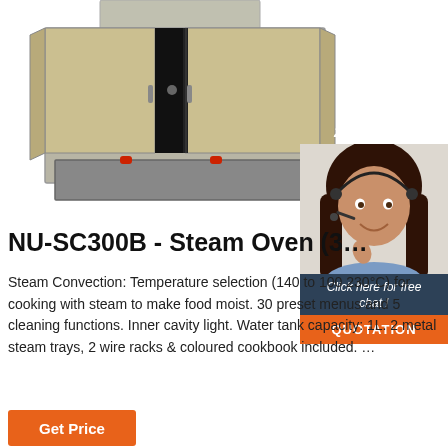[Figure (photo): Steam oven product photo showing an open steam oven with two doors open and dark interior cavity visible]
[Figure (illustration): 24/7 Online chat widget showing a smiling woman with headset. Text: '24/7 Online', 'Click here for free chat!', and an orange QUOTATION button]
NU-SC300B - Steam Oven (3…
Steam Convection: Temperature selection (140 to 100 230°C) for cooking with steam to make food moist. 30 preset menus and 5 cleaning functions. Inner cavity light. Water tank capacity: 1L. 2 metal steam trays, 2 wire racks & coloured cookbook included. …
Get Price